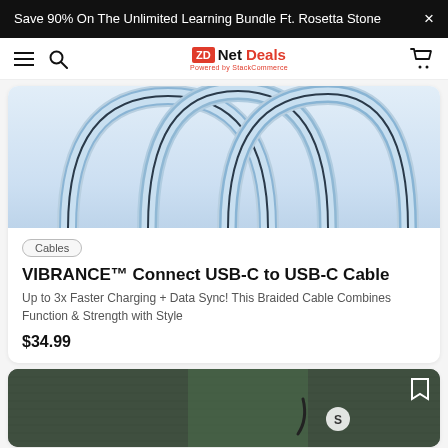Save 90% On The Unlimited Learning Bundle Ft. Rosetta Stone
[Figure (logo): ZDNet Deals logo with navigation bar including hamburger menu, search icon, and cart icon]
[Figure (photo): Light blue braided USB-C to USB-C cables arranged in arches against a white-to-light-blue gradient background]
Cables
VIBRANCE™ Connect USB-C to USB-C Cable
Up to 3x Faster Charging + Data Sync! This Braided Cable Combines Function & Strength with Style
$34.99
[Figure (photo): Dark fabric-textured laptop sleeve or notebook in dark green/grey, partially visible at bottom of page]